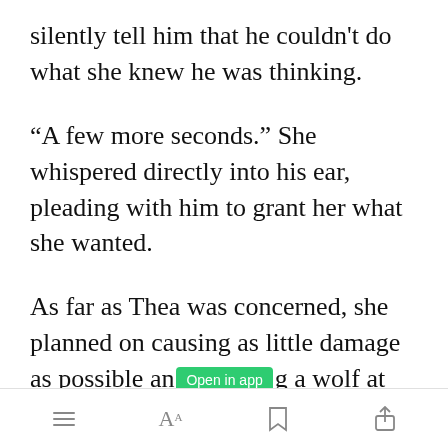silently tell him that he couldn't do what she knew he was thinking.
“A few more seconds.” She whispered directly into his ear, pleading with him to grant her what she wanted.
As far as Thea was concerned, she planned on causing as little damage as possible an[Open in app]g a wolf at
[Figure (screenshot): App toolbar with menu (hamburger), font size (AA), bookmark, and share icons]